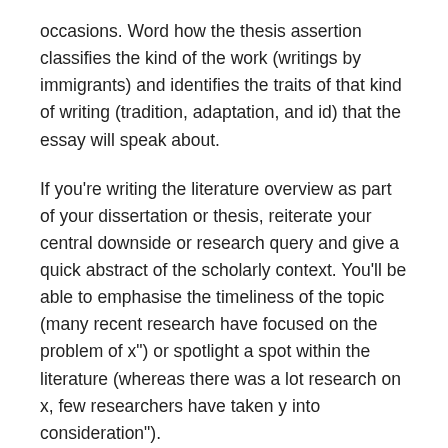occasions. Word how the thesis assertion classifies the kind of the work (writings by immigrants) and identifies the traits of that kind of writing (tradition, adaptation, and id) that the essay will speak about.
If you're writing the literature overview as part of your dissertation or thesis, reiterate your central downside or research query and give a quick abstract of the scholarly context. You'll be able to emphasise the timeliness of the topic (many recent research have focused on the problem of x") or spotlight a spot within the literature (whereas there was a lot research on x, few researchers have taken y into consideration").
Finding Realistic Secrets Of literature essay